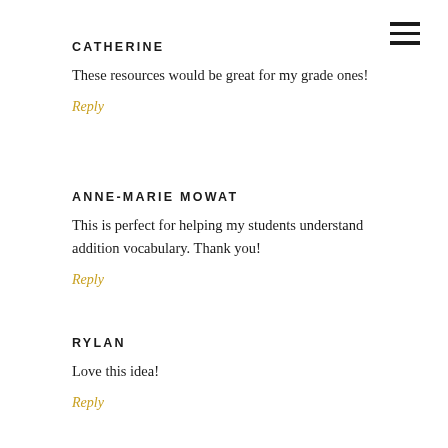[Figure (other): Hamburger menu icon with three horizontal lines in top right corner]
CATHERINE
These resources would be great for my grade ones!
Reply
ANNE-MARIE MOWAT
This is perfect for helping my students understand addition vocabulary. Thank you!
Reply
RYLAN
Love this idea!
Reply